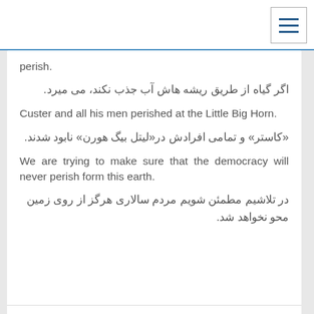Navigation bar with hamburger menu icon
perish.
اگر گیاه از طریق ریشه هاش آب جذب نکند، می میرد.
Custer and all his men perished at the Little Big Horn.
«کاستر» و تمامی افرادش در«لیتل بیگ هورن» نابود شدند.
We are trying to make sure that the democracy will never perish form this earth.
در تلاشیم مطمئن شویم مردم سالاری هرگز از روی زمین محو نخواهد شد.